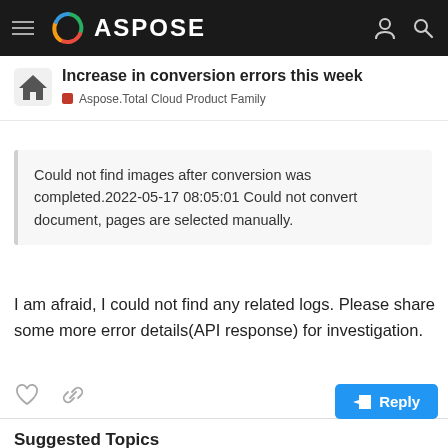ASPOSE
Increase in conversion errors this week
Aspose.Total Cloud Product Family
Could not find images after conversion was completed.2022-05-17 08:05:01 Could not convert document, pages are selected manually.
I am afraid, I could not find any related logs. Please share some more error details(API response) for investigation.
Suggested Topics